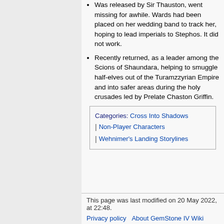Was released by Sir Thauston, went missing for awhile. Wards had been placed on her wedding band to track her, hoping to lead imperials to Stephos. It did not work.
Recently returned, as a leader among the Scions of Shaundara, helping to smuggle half-elves out of the Turamzzyrian Empire and into safer areas during the holy crusades led by Prelate Chaston Griffin.
Categories: Cross Into Shadows | Non-Player Characters | Wehnimer's Landing Storylines
This page was last modified on 20 May 2022, at 22:48.
Privacy policy  About GemStone IV Wiki